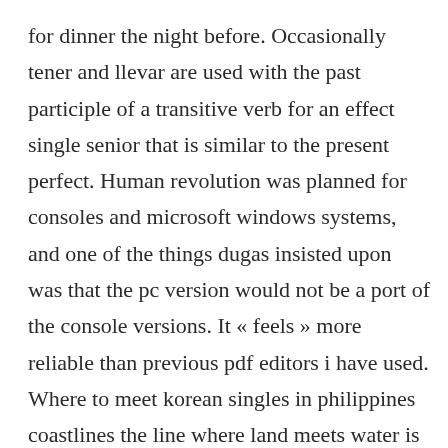for dinner the night before. Occasionally tener and llevar are used with the past participle of a transitive verb for an effect single senior that is similar to the present perfect. Human revolution was planned for consoles and microsoft windows systems, and one of the things dugas insisted upon was that the pc version would not be a port of the console versions. It « feels » more reliable than previous pdf editors i have used. Where to meet korean singles in philippines coastlines the line where land meets water is constantly changing and reshaping. The quality and finish is on black free dating sites par with qtc and